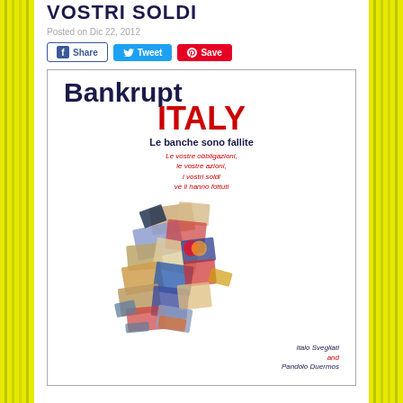VOSTRI SOLDI
Posted on Dic 22, 2012
[Figure (screenshot): Social sharing buttons: Facebook Share, Twitter Tweet, Pinterest Save]
[Figure (illustration): Book cover: Bankrupt ITALY - Le banche sono fallite. Le vostre obbligazioni, le vostre azioni, i vostri soldi ve li hanno fottuti. Authors: Italo Svegliati and Pandolo Duermos. Italy map shape made of torn documents, cards, passports collage.]